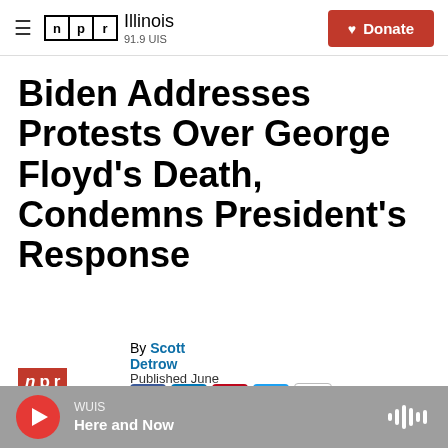NPR Illinois 91.9 UIS — Donate
Biden Addresses Protests Over George Floyd's Death, Condemns President's Response
By Scott Detrow
Published June 2, 2020 at 2:55 PM CDT
[Figure (logo): NPR logo in red box with italic letters n p r]
[Figure (infographic): Social share buttons: Facebook, LinkedIn, Pinterest, Twitter, Email, and Print]
WUIS
Here and Now